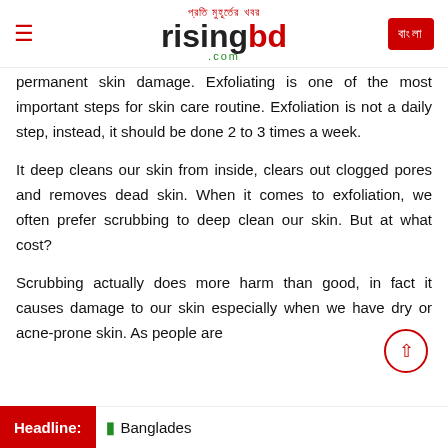প্রতি মুহূর্তের খবর risingbd.com
permanent skin damage. Exfoliating is one of the most important steps for skin care routine. Exfoliation is not a daily step, instead, it should be done 2 to 3 times a week.
It deep cleans our skin from inside, clears out clogged pores and removes dead skin. When it comes to exfoliation, we often prefer scrubbing to deep clean our skin. But at what cost?
Scrubbing actually does more harm than good, in fact it causes damage to our skin especially when we have dry or acne-prone skin. As people are
Headline: Bangladesh